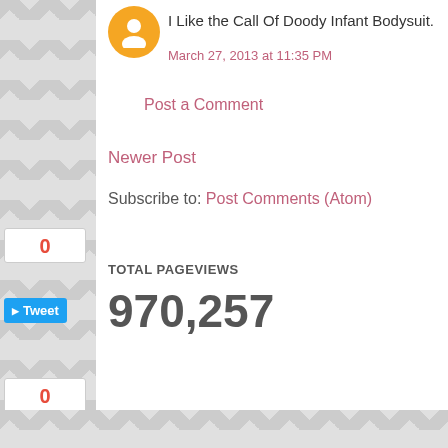I Like the Call Of Doody Infant Bodysuit.
March 27, 2013 at 11:35 PM
Post a Comment
Newer Post
Subscribe to: Post Comments (Atom)
TOTAL PAGEVIEWS
970,257